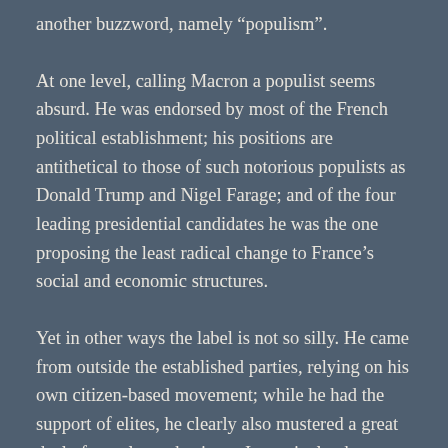another buzzword, namely “populism”.
At one level, calling Macron a populist seems absurd. He was endorsed by most of the French political establishment; his positions are antithetical to those of such notorious populists as Donald Trump and Nigel Farage; and of the four leading presidential candidates he was the one proposing the least radical change to France’s social and economic structures.
Yet in other ways the label is not so silly. He came from outside the established parties, relying on his own citizen-based movement; while he had the support of elites, he clearly also mustered a great deal of popular enthusiasm. In particular, he understood the need to address the public’s very low opinion of the political